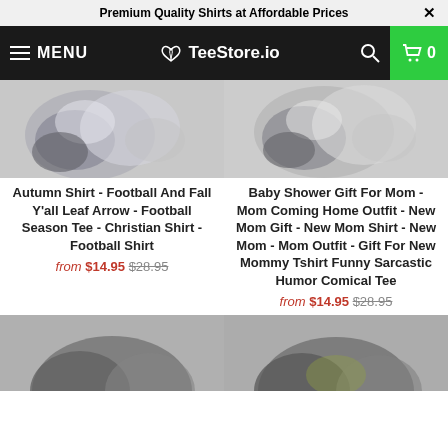Premium Quality Shirts at Affordable Prices
[Figure (screenshot): TeeStore.io navigation bar with hamburger menu, logo, search icon, and green cart button showing 0 items]
[Figure (photo): Blurred product image of Autumn Shirt - Football And Fall Y'all shirt (top, partially cropped)]
[Figure (photo): Blurred product image of Baby Shower Gift For Mom shirt (top, partially cropped)]
Autumn Shirt - Football And Fall Y'all Leaf Arrow - Football Season Tee - Christian Shirt - Football Shirt
from $14.95 $28.95
Baby Shower Gift For Mom - Mom Coming Home Outfit - New Mom Gift - New Mom Shirt - New Mom - Mom Outfit - Gift For New Mommy Tshirt Funny Sarcastic Humor Comical Tee
from $14.95 $28.95
[Figure (photo): Blurred product image bottom left (partially cropped)]
[Figure (photo): Blurred product image bottom right (partially cropped)]